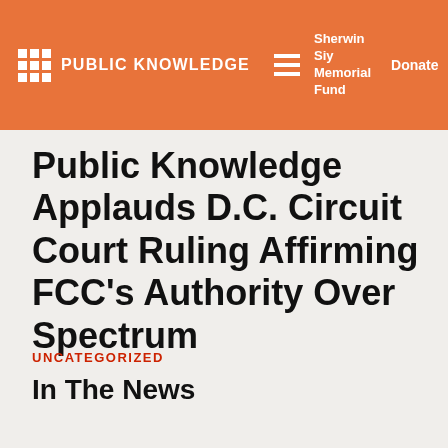PUBLIC KNOWLEDGE | Sherwin Siy Memorial Fund | Donate
Public Knowledge Applauds D.C. Circuit Court Ruling Affirming FCC’s Authority Over Spectrum
UNCATEGORIZED
In The News